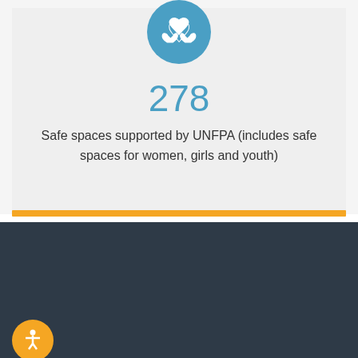[Figure (infographic): Blue circular icon with white hands holding a heart symbol, representing safe spaces]
278
Safe spaces supported by UNFPA (includes safe spaces for women, girls and youth)
We use cookies and other identifiers to help improve your online experience. By using our website you agree to this. To learn more, including how to change your settings, see our cookie policy
ACCEPT
X